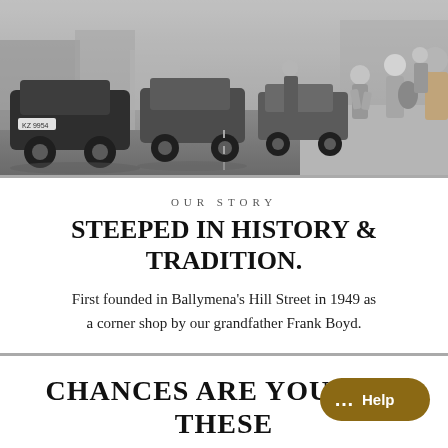[Figure (photo): Black and white vintage photograph of a busy street scene circa 1950s-1960s, showing classic cars on a road and pedestrians on the pavement.]
OUR STORY
STEEPED IN HISTORY & TRADITION.
First founded in Ballymena's Hill Street in 1949 as a corner shop by our grandfather Frank Boyd.
CHANCES ARE YOU WILL LOVE THESE
ONLINE OFFER
ONLINE OFFER